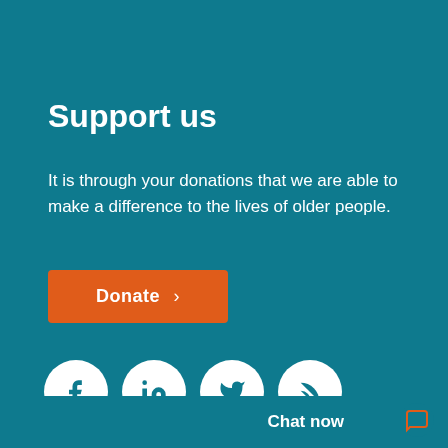Support us
It is through your donations that we are able to make a difference to the lives of older people.
Donate >
[Figure (illustration): Four white circular social media icons on teal background: Facebook (f), LinkedIn (in), Twitter (bird), RSS feed]
Join our newsletter
Sign up to our e-newsle... homes and services, sho...
Chat now